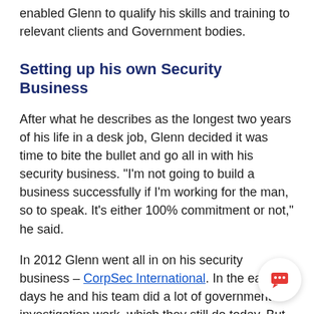enabled Glenn to qualify his skills and training to relevant clients and Government bodies.
Setting up his own Security Business
After what he describes as the longest two years of his life in a desk job, Glenn decided it was time to bite the bullet and go all in with his security business. “I’m not going to build a business successfully if I’m working for the man, so to speak. It’s either 100% commitment or not,” he said.
In 2012 Glenn went all in on his security business – CorpSec International. In the early days he and his team did a lot of government investigation work, which they still do today. But his business has grown and expanded considerably between